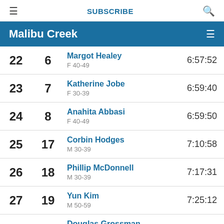SUBSCRIBE
Malibu Creek
| Rank | Bib | Name / Category | Time |
| --- | --- | --- | --- |
| 22 | 6 | Margot Healey / F 40-49 | 6:57:52 |
| 23 | 7 | Katherine Jobe / F 30-39 | 6:59:40 |
| 24 | 8 | Anahita Abbasi / F 40-49 | 6:59:50 |
| 25 | 17 | Corbin Hodges / M 30-39 | 7:10:58 |
| 26 | 18 | Phillip McDonnell / M 30-39 | 7:17:31 |
| 27 | 19 | Yun Kim / M 50-59 | 7:25:12 |
| 28 | — | Douglas Grossman (partial) | — |